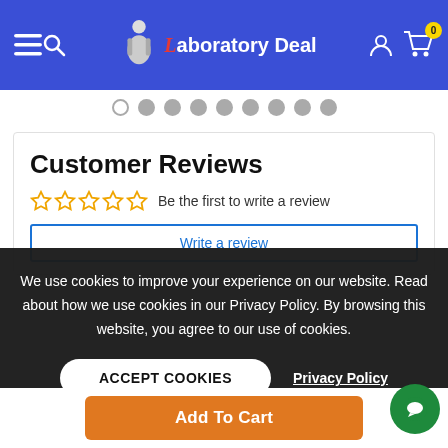Laboratory Deal — website header with navigation icons and logo
[Figure (screenshot): Carousel pagination dots row, 9 dots total, first one is outlined/active, rest are filled grey]
Customer Reviews
Be the first to write a review
Write a review
We use cookies to improve your experience on our website. Read about how we use cookies in our Privacy Policy. By browsing this website, you agree to our use of cookies.
ACCEPT COOKIES
Privacy Policy
QUES
Add To Cart